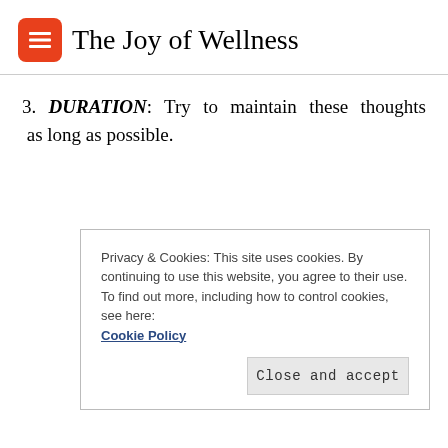The Joy of Wellness
3. DURATION: Try to maintain these thoughts as long as possible.
Privacy & Cookies: This site uses cookies. By continuing to use this website, you agree to their use.
To find out more, including how to control cookies, see here: Cookie Policy
Close and accept